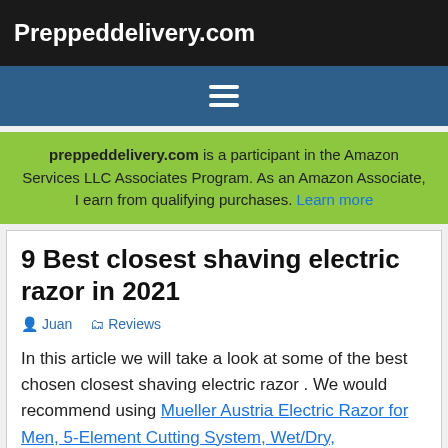Preppeddelivery.com
[Figure (other): Navigation hamburger menu icon (three white horizontal lines on blue background)]
preppeddelivery.com is a participant in the Amazon Services LLC Associates Program. As an Amazon Associate, I earn from qualifying purchases. Learn more
9 Best closest shaving electric razor in 2021
Juan   Reviews
In this article we will take a look at some of the best chosen closest shaving electric razor . We would recommend using Mueller Austria Electric Razor for Men, 5-Element Cutting System, Wet/Dry, Rechargeable, Precision Trimmer, LED, 40,000 Cross-Cutting Actions/Min For Closest Shave as it is one of the best products currently available in the market